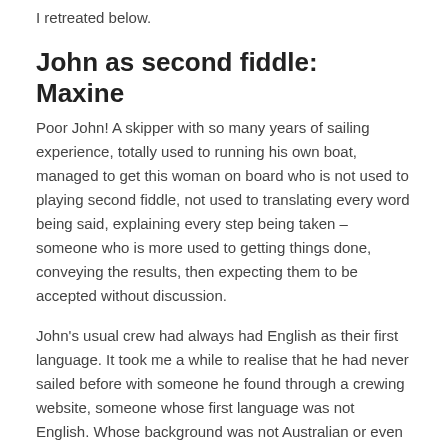I retreated below.
John as second fiddle: Maxine
Poor John! A skipper with so many years of sailing experience, totally used to running his own boat, managed to get this woman on board who is not used to playing second fiddle, not used to translating every word being said, explaining every step being taken – someone who is more used to getting things done, conveying the results, then expecting them to be accepted without discussion.
John's usual crew had always had English as their first language. It took me a while to realise that he had never sailed before with someone he found through a crewing website, someone whose first language was not English. Whose background was not Australian or even Anglo-Saxon. And he'd never sailed with someone who could